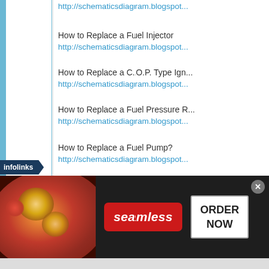http://schematicsdiagram.blogspot...
How to Replace a Fuel Injector
http://schematicsdiagram.blogspot...
How to Replace a C.O.P. Type Ign...
http://schematicsdiagram.blogspot...
How to Replace a Fuel Pressure R...
http://schematicsdiagram.blogspot...
How to Replace a Fuel Pump?
http://schematicsdiagram.blogspot...
How to Replace a F...
[Figure (screenshot): Seamless food ordering advertisement banner with pizza image, seamless logo, and ORDER NOW button]